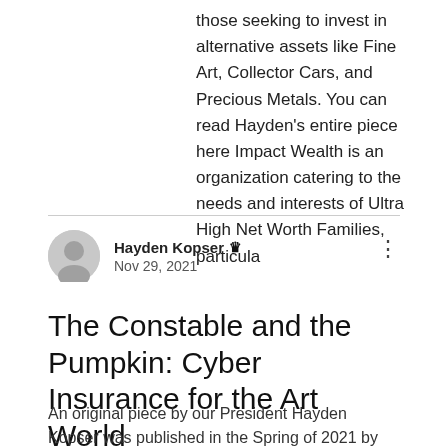those seeking to invest in alternative assets like Fine Art, Collector Cars, and Precious Metals. You can read Hayden's entire piece here Impact Wealth is an organization catering to the needs and interests of Ultra High Net Worth Families, particula
Hayden Kopser [Admin icon] Nov 29, 2021
The Constable and the Pumpkin: Cyber Insurance for the Art World
An original piece by our President Hayden Kopser was published in the Spring of 2021 by Impact Wealth in both their print